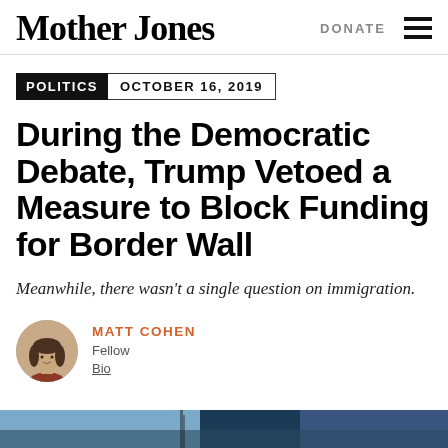Mother Jones | DONATE
POLITICS  OCTOBER 16, 2019
During the Democratic Debate, Trump Vetoed a Measure to Block Funding for Border Wall
Meanwhile, there wasn't a single question on immigration.
MATT COHEN
Fellow
Bio
[Figure (photo): Bottom image strip showing a scene related to the border wall story]